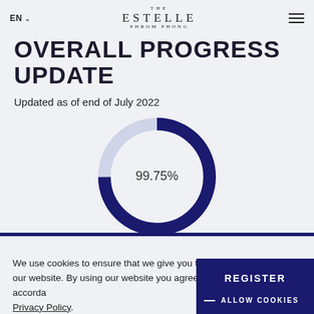THE ESTELLE PHROM PHONG
OVERALL PROGRESS UPDATE
Updated as of end of July 2022
[Figure (donut-chart): Overall Progress]
We use cookies to ensure that we give you the best experience on our website. By using our website you agree to our use of cookies in accordance with our Privacy Policy.